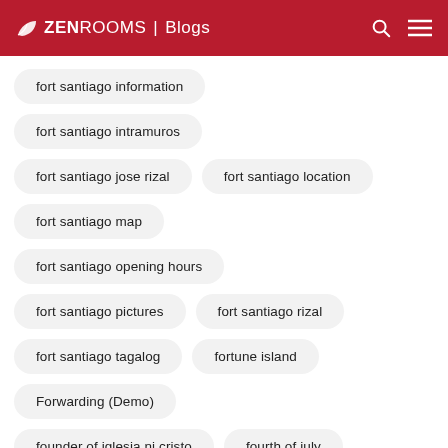ZEN ROOMS | Blogs
fort santiago information
fort santiago intramuros
fort santiago jose rizal
fort santiago location
fort santiago map
fort santiago opening hours
fort santiago pictures
fort santiago rizal
fort santiago tagalog
fortune island
Forwarding (Demo)
founder of iglesia ni cristo
fourth of july